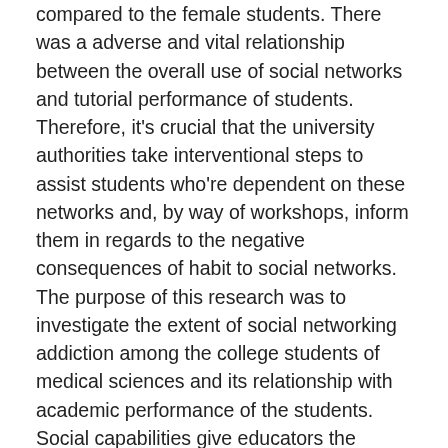compared to the female students. There was a adverse and vital relationship between the overall use of social networks and tutorial performance of students. Therefore, it's crucial that the university authorities take interventional steps to assist students who're dependent on these networks and, by way of workshops, inform them in regards to the negative consequences of habit to social networks. The purpose of this research was to investigate the extent of social networking addiction among the college students of medical sciences and its relationship with academic performance of the students. Social capabilities give educators the opportunity to develop interactive, engaging initiatives and assignments for students and to construct studying communities.
Instagram allows students to apply digital storytelling in ways that different social media platforms might fall brief. Facebook could be the proper social media platform to include into the classroom. Instead of putting instructors and students alike by way of a brand new studying curve when